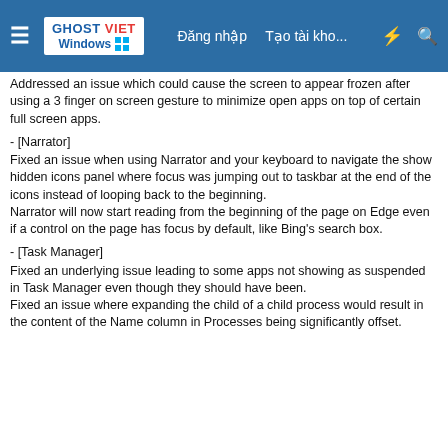GHOST VIET Windows | Đăng nhập | Tạo tài kho...
Addressed an issue which could cause the screen to appear frozen after using a 3 finger on screen gesture to minimize open apps on top of certain full screen apps.
- [Narrator]
Fixed an issue when using Narrator and your keyboard to navigate the show hidden icons panel where focus was jumping out to taskbar at the end of the icons instead of looping back to the beginning.
Narrator will now start reading from the beginning of the page on Edge even if a control on the page has focus by default, like Bing's search box.
- [Task Manager]
Fixed an underlying issue leading to some apps not showing as suspended in Task Manager even though they should have been.
Fixed an issue where expanding the child of a child process would result in the content of the Name column in Processes being significantly offset.